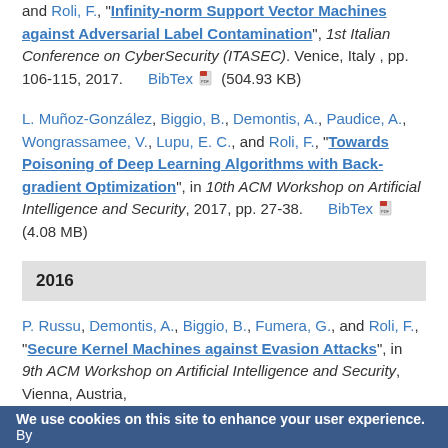and Roli, F., "Infinity-norm Support Vector Machines against Adversarial Label Contamination", 1st Italian Conference on CyberSecurity (ITASEC). Venice, Italy , pp. 106-115, 2017. BibTex [pdf] (504.93 KB)
L. Muñoz-González, Biggio, B., Demontis, A., Paudice, A., Wongrassamee, V., Lupu, E. C., and Roli, F., "Towards Poisoning of Deep Learning Algorithms with Back-gradient Optimization", in 10th ACM Workshop on Artificial Intelligence and Security, 2017, pp. 27-38. BibTex [pdf] (4.08 MB)
2016
P. Russu, Demontis, A., Biggio, B., Fumera, G., and Roli, F., "Secure Kernel Machines against Evasion Attacks", in 9th ACM Workshop on Artificial Intelligence and Security, Vienna, Austria,
We use cookies on this site to enhance your user experience. By